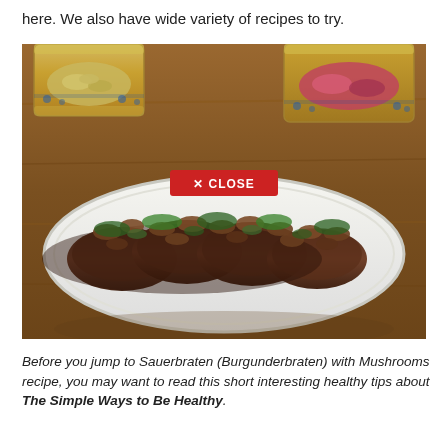here. We also have wide variety of recipes to try.
[Figure (photo): A plate of Sauerbraten (Burgunderbraten) with mushrooms on an oval white platter, with two decorative bowls of side dishes in the background on a wooden table. A red 'X CLOSE' button overlay is visible in the center of the image.]
Before you jump to Sauerbraten (Burgunderbraten) with Mushrooms recipe, you may want to read this short interesting healthy tips about The Simple Ways to Be Healthy.